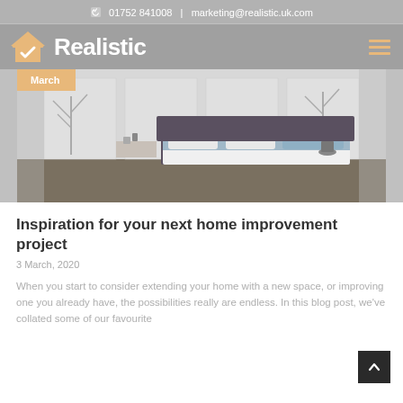01752 841008  |  marketing@realistic.uk.com
[Figure (logo): Realistic home improvement company logo with house-check icon and wordmark 'Realistic']
[Figure (photo): Bedroom interior with white bed and blue accent, minimalist decor, tree branch, dark floor. Badge reading 'March'.]
Inspiration for your next home improvement project
3 March, 2020
When you start to consider extending your home with a new space, or improving one you already have, the possibilities really are endless. In this blog post, we've collated some of our favourite